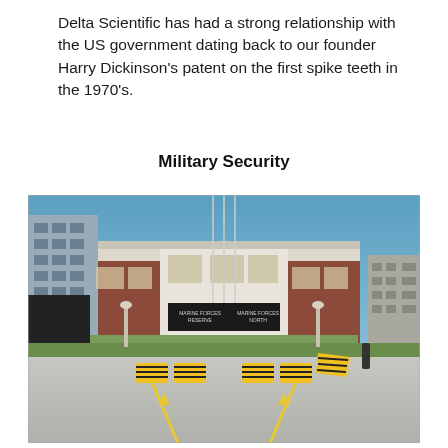Delta Scientific has had a strong relationship with the US government dating back to our founder Harry Dickinson's patent on the first spike teeth in the 1970's.
Military Security
[Figure (photo): Exterior photograph of a Marine Forces Reserve and Marine Forces North building entrance with yellow and black vehicle barriers (Delta Scientific bollards/barricades) in the foreground on a concrete driveway, flagpoles visible, brick facade building, clear blue sky.]